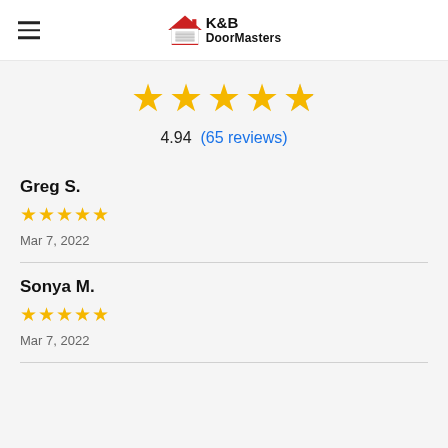K&B DoorMasters
4.94 (65 reviews)
Greg S. ★★★★★ Mar 7, 2022
Sonya M. ★★★★★ Mar 7, 2022